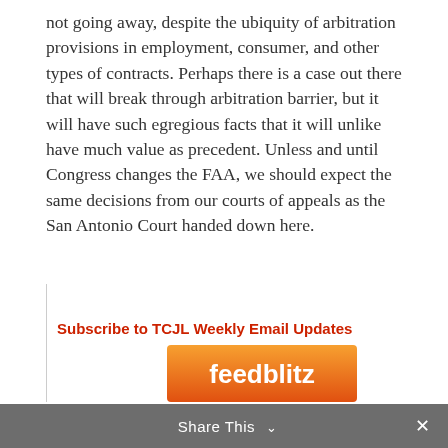not going away, despite the ubiquity of arbitration provisions in employment, consumer, and other types of contracts. Perhaps there is a case out there that will break through arbitration barrier, but it will have such egregious facts that it will unlike have much value as precedent. Unless and until Congress changes the FAA, we should expect the same decisions from our courts of appeals as the San Antonio Court handed down here.
Subscribe to TCJL Weekly Email Updates
[Figure (logo): FeedBlitz orange gradient banner/logo button]
Share This ∨  ×